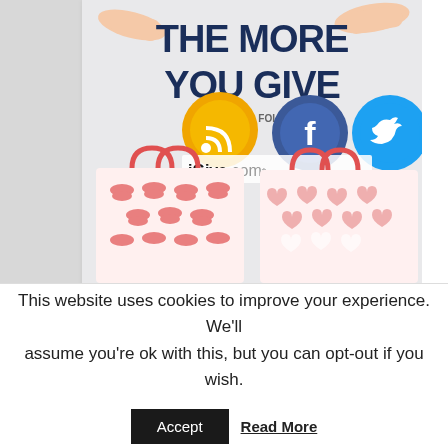[Figure (illustration): Marketing image showing two hands holding gift bags with patterns (lips and hearts), text reading 'THE MORE YOU GIVE' in dark blue, with social media icons (RSS, Facebook, Twitter) and 'iGive.com' branding with 'FOLLOW' text.]
1. AmazonSmile donates .5% of purchases
https://smile.amazon.com/ch/94-3333882
2. Discounted books at Amazon:
This website uses cookies to improve your experience. We'll assume you're ok with this, but you can opt-out if you wish.